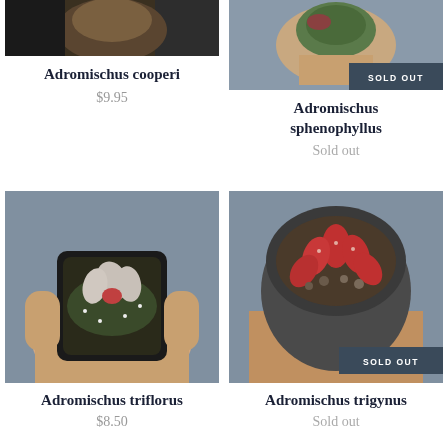[Figure (photo): Photo of Adromischus cooperi succulent plant, partially cropped at top]
Adromischus cooperi
$9.95
[Figure (photo): Photo of Adromischus sphenophyllus succulent held in hand, with SOLD OUT badge]
Adromischus sphenophyllus
Sold out
[Figure (photo): Photo of Adromischus triflorus succulent in small square black pot held in hand]
Adromischus triflorus
$8.50
[Figure (photo): Photo of Adromischus trigynus succulent in round pot held in hand, with SOLD OUT badge]
Adromischus trigynus
Sold out